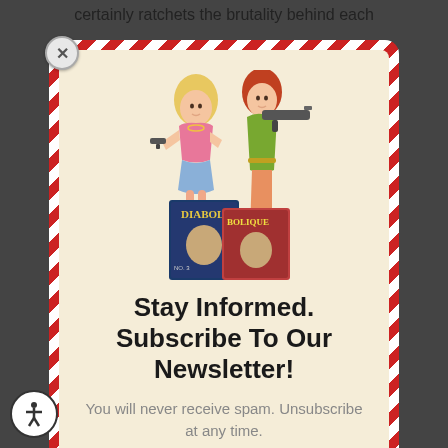certainly ratchets the brutality behind each
[Figure (illustration): Two retro-style illustrated women holding guns, standing in front of comic book covers labeled 'DIABOL' and 'BOLIQUE']
Stay Informed. Subscribe To Our Newsletter!
You will never receive spam. Unsubscribe at any time.